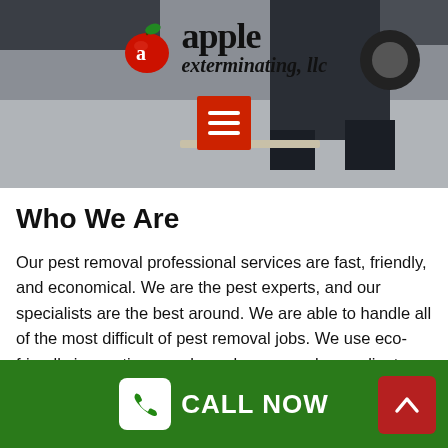[Figure (screenshot): Apple Exterminating LLC website hero image showing a pest control professional's legs near a manhole, with company logo overlay and red hamburger menu button]
Who We Are
Our pest removal professional services are fast, friendly, and economical. We are the pest experts, and our specialists are the best around. We are able to handle all of the most difficult of pest removal jobs. We use eco-friendly innovations, and we always supply our clients a COMPLIMENTARY home or business
[Figure (other): Green footer bar with white phone icon box, CALL NOW text in white, and red up-arrow button]